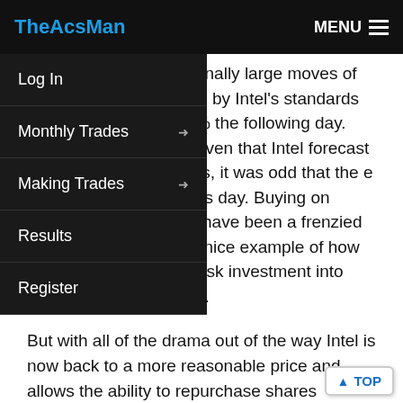TheAcsMan  MENU
Log In
Monthly Trades
Making Trades
Results
Register
being prone to exceptionally large moves of day it soared 3%, which by Intel's standards ng. It then fell nearly 6% the following day. was really not so odd given that Intel forecast and flat operating profits, it was odd that the e up so much the previous day. Buying on Thursday, in what may have been a frenzied battle for shares was a nice example of how to turn a relatively low risk investment into one that has added risk.
But with all of the drama out of the way Intel is now back to a more reasonable price and allows the ability to repurchase shares assigned the previous week at $24 or to just start a new position.
While I would have preferred that Joy Global (JOY) h